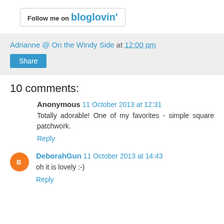[Figure (logo): Follow me on bloglovin' button/badge]
Adrianne @ On the Windy Side at 12:00 pm
Share
10 comments:
Anonymous 11 October 2013 at 12:31
Totally adorable! One of my favorites - simple square patchwork.
Reply
[Figure (illustration): Orange circle avatar with blogger B icon for DeborahGun]
DeborahGun 11 October 2013 at 14:43
oh it is lovely :-)
Reply